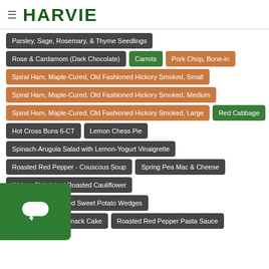HARVIE
Parsley, Sage, Rosemary, & Thyme Seedlings
Rose & Cardamom (Dark Chocolate)
Carrots
Pork Chop, Bone-in
Spiral Ham, Maple-Cured, Old Fashioned Hickory Smoked, Small
Spiral Ham, Maple-Cured, Old Fashioned Hickory Smoked, Medium
Spiral Ham, Maple-Cured, Old Fashioned Hickory Smoked, Large
Red Cabbage
Hot Cross Buns 6-CT
Lemon Chess Pie
Spinach-Arugula Salad with Lemon-Yogurt Vinaigrette
Roasted Red Pepper - Couscous Soup
Spring Pea Mac & Cheese
Walnut Chimichuri Roasted Cauliflower
Garlic Butter Roasted Sweet Potato Wedges
Double Chocolate Snack Cake
Roasted Red Pepper Pasta Sauce